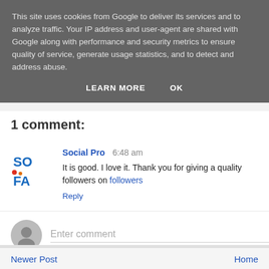This site uses cookies from Google to deliver its services and to analyze traffic. Your IP address and user-agent are shared with Google along with performance and security metrics to ensure quality of service, generate usage statistics, and to detect and address abuse.
LEARN MORE    OK
1 comment:
Social Pro  6:48 am
It is good. I love it. Thank you for giving a quality followers on followers
Reply
Enter comment
Newer Post    Home